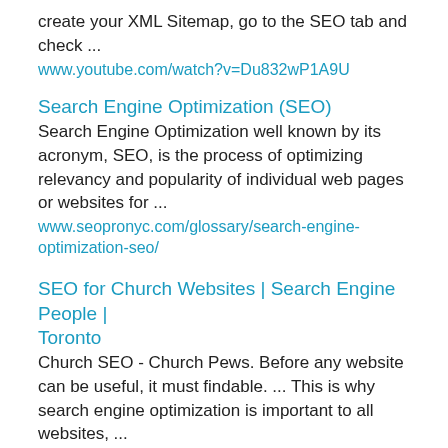create your XML Sitemap, go to the SEO tab and check ... www.youtube.com/watch?v=Du832wP1A9U
Search Engine Optimization (SEO)
Search Engine Optimization well known by its acronym, SEO, is the process of optimizing relevancy and popularity of individual web pages or websites for ... www.seopronyc.com/glossary/search-engine-optimization-seo/
SEO for Church Websites | Search Engine People | Toronto
Church SEO - Church Pews. Before any website can be useful, it must findable. ... This is why search engine optimization is important to all websites, ... www.searchenginepeople.com/blog/seo-churches.html
'Reputation Management' Becoming Big Business on the Web
Consumer Affairs
Just as the search engine spawned an industry known as Search Engine Optimization (SEO), so has the advent ...